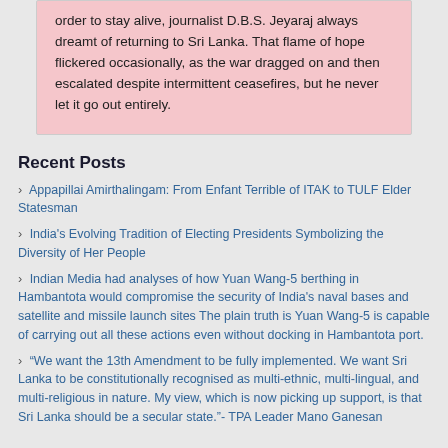order to stay alive, journalist D.B.S. Jeyaraj always dreamt of returning to Sri Lanka. That flame of hope flickered occasionally, as the war dragged on and then escalated despite intermittent ceasefires, but he never let it go out entirely.
Recent Posts
Appapillai Amirthalingam: From Enfant Terrible of ITAK to TULF Elder Statesman
India's Evolving Tradition of Electing Presidents Symbolizing the Diversity of Her People
Indian Media had analyses of how Yuan Wang-5 berthing in Hambantota would compromise the security of India's naval bases and satellite and missile launch sites The plain truth is Yuan Wang-5 is capable of carrying out all these actions even without docking in Hambantota port.
“We want the 13th Amendment to be fully implemented. We want Sri Lanka to be constitutionally recognised as multi-ethnic, multi-lingual, and multi-religious in nature. My view, which is now picking up support, is that Sri Lanka should be a secular state.”- TPA Leader Mano Ganesan